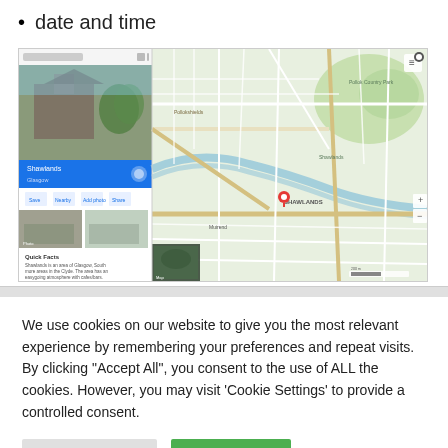date and time
[Figure (screenshot): Google Maps screenshot showing a map view of Shawlands, Glasgow area with street layout, green park areas, and a red location pin marker. Left panel shows a photo of a building and quick facts about Shawlands.]
We use cookies on our website to give you the most relevant experience by remembering your preferences and repeat visits. By clicking "Accept All", you consent to the use of ALL the cookies. However, you may visit 'Cookie Settings' to provide a controlled consent.
Cookie Settings    Accept All